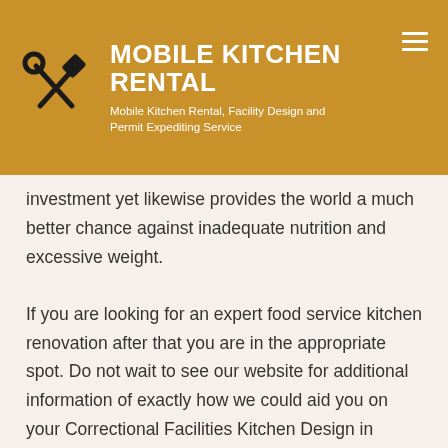MOBILE KITCHEN RENTAL — Mobile Kitchen Rental, Facility Design and Permit Expediting Service
investment yet likewise provides the world a much better chance against inadequate nutrition and excessive weight.
If you are looking for an expert food service kitchen renovation after that you are in the appropriate spot. Do not wait to see our website for additional information of exactly how we could aid you on your Correctional Facilities Kitchen Design in District of Columbia , School Kitchen Renovation in District of Columbia , Mobile Kitchen Rental